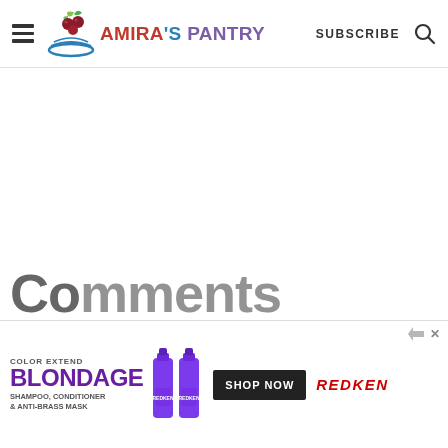Amira's Pantry — SUBSCRIBE (navigation header)
[Figure (other): Large white blank content area (main article content not visible)]
486
[Figure (illustration): Floating heart icon button (white circle) and floating search icon button (teal circle)]
Comments
[Figure (infographic): Advertisement banner for Redken Color Extend Blondage shampoo, conditioner and anti-brass mask. Shows purple product bottles, SHOP NOW button, and REDKEN logo.]